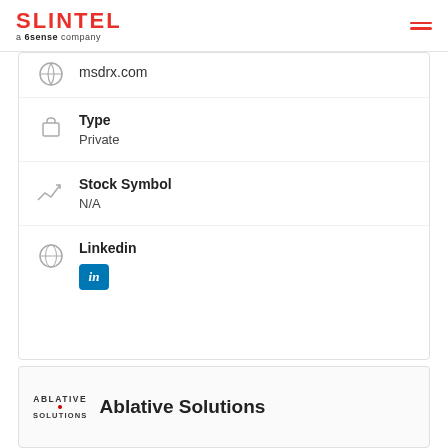SLINTEL a 6sense company
msdrx.com
Type
Private
Stock Symbol
N/A
Linkedin
[Figure (logo): LinkedIn icon badge, blue square with white 'in']
Ablative Solutions